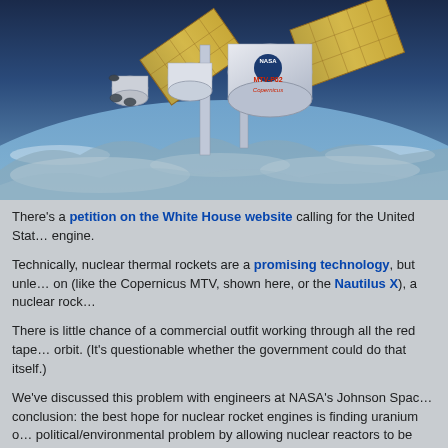[Figure (photo): Artistic rendering of the MTV-P02 Copernicus nuclear-powered spacecraft in orbit above Earth, showing cylindrical crew modules, large solar/radiator panels, and NASA branding. Earth's surface and clouds visible below.]
There's a petition on the White House website calling for the United Stat… engine.
Technically, nuclear thermal rockets are a promising technology, but unle… on (like the Copernicus MTV, shown here, or the Nautilus X), a nuclear rock…
There is little chance of a commercial outfit working through all the red tape… orbit. (It's questionable whether the government could do that itself.)
We've discussed this problem with engineers at NASA's Johnson Spac… conclusion: the best hope for nuclear rocket engines is finding uranium o… political/environmental problem by allowing nuclear reactors to be launche… the best part of having it…